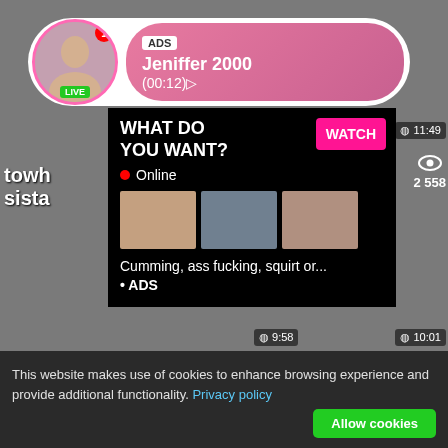[Figure (screenshot): Website screenshot showing adult video streaming site with collage of video thumbnails in background]
ADS
Jeniffer 2000
(00:12)
LIVE
towh
sista
WHAT DO YOU WANT?
WATCH
Online
Cumming, ass fucking, squirt or...
• ADS
11:49
2 558
9:58
10:01
This website makes use of cookies to enhance browsing experience and provide additional functionality. Privacy policy
Allow cookies